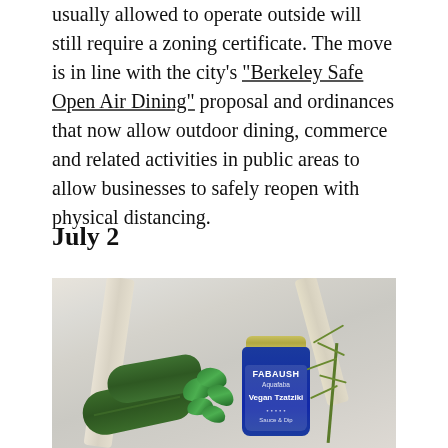usually allowed to operate outside will still require a zoning certificate. The move is in line with the city's "Berkeley Safe Open Air Dining" proposal and ordinances that now allow outdoor dining, commerce and related activities in public areas to allow businesses to safely reopen with physical distancing.
July 2
[Figure (photo): Overhead photo of groceries in a canvas tote bag on a marble surface, featuring cucumbers, fresh mint leaves, dill, and a blue jar of Fabaush Vegan Tzatziki Sauce & Dip with a gold lid.]